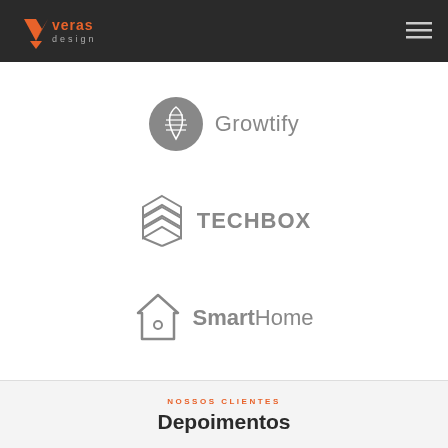Veras Design — navigation header
[Figure (logo): Growtify logo: gray circle with leaf/stripe icon and text 'Growtify' in gray]
[Figure (logo): Techbox logo: stacked layers hexagon icon and bold text 'TECHBOX' in gray]
[Figure (logo): SmartHome logo: house outline icon and text 'SmartHome' (Smart bold, Home regular) in gray]
NOSSOS CLIENTES
Depoimentos